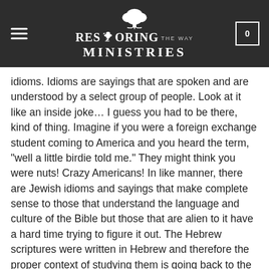RESTORING THE WAY MINISTRIES
idioms. Idioms are sayings that are spoken and are understood by a select group of people. Look at it like an inside joke… I guess you had to be there, kind of thing. Imagine if you were a foreign exchange student coming to America and you heard the term, “well a little birdie told me.” They might think you were nuts! Crazy Americans! In like manner, there are Jewish idioms and sayings that make complete sense to those that understand the language and culture of the Bible but those that are alien to it have a hard time trying to figure it out. The Hebrew scriptures were written in Hebrew and therefore the proper context of studying them is going back to the Hebrew language.
The second thing we have to understand is that the Torah